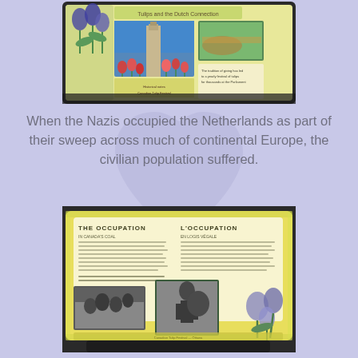[Figure (photo): A photo of an outdoor interpretive display board with tulip decorations, showing images of tulips and a tower/clock tower, with text panels in English and French, photographed from above at an angle on a bench or table.]
When the Nazis occupied the Netherlands as part of their sweep across much of continental Europe, the civilian population suffered.
[Figure (photo): A photo of an outdoor interpretive display board titled 'THE OCCUPATION' / 'L'OCCUPATION' with bilingual English and French text panels, historical black-and-white photographs showing people and soldiers, and tulip decorations, photographed from above at an angle on a bench or surface.]